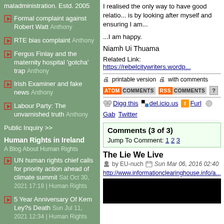maladministration. Estd. 2005
Formal complaint against Robert Watt Anthony
RTE bias complaint Anthony
Fergus Finlay and the maternity hospital 'gotcha' trap Anthony
Irish Examiner and fake news Anthony
Labour Party: The unvarnished truth Anthony
Public Inquiry >>
Human Rights in Ireland
A Blog About Human Rights
UN human rights chief calls for priority action ahead of climate summit Sat Oct 30, 2021 17:18 | Human Rights
5 Year Anniversary Of Kem Ley?s Death Sun Jul 11, 2021 12:34 | Human Rights
I realised the only way to have good relatio... is by looking after myself and ensuring I am...
...I am happy.
Niamh Ui Thuama
Related Link: https://rebelcitywriters.wordp...
printable version  with comments
ATOM COMMENTS  RSS COMMENTS  ?
Digg this  del.icio.us  Furl  Gab  Twitter
Comments (3 of 3)
Jump To Comment: 1 2 3
The Lie We Live
by EU-nuch  Sun Mar 06, 2016 02:40
http://www.informationclearinghouse.info/a...